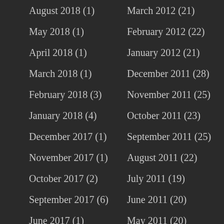August 2018 (1)
March 2012 (21)
May 2018 (1)
February 2012 (22)
April 2018 (1)
January 2012 (21)
March 2018 (1)
December 2011 (28)
February 2018 (3)
November 2011 (25)
January 2018 (4)
October 2011 (23)
December 2017 (1)
September 2011 (25)
November 2017 (1)
August 2011 (22)
October 2017 (2)
July 2011 (19)
September 2017 (6)
June 2011 (20)
June 2017 (1)
May 2011 (20)
May 2017 (1)
April 2011 (26)
April 2017 (2)
March 2011 (29)